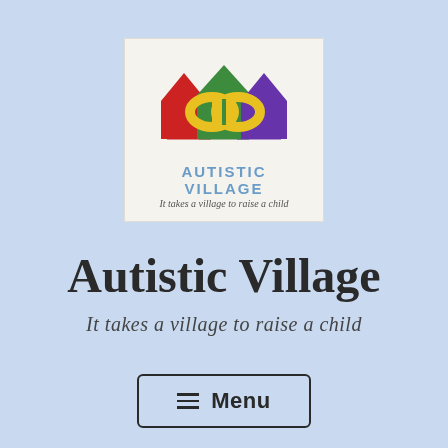[Figure (logo): Autistic Village logo: three house shapes in red, green, and purple with a yellow infinity symbol overlaid. Below: 'AUTISTIC VILLAGE' in blue bold letters and italic tagline 'It takes a village to raise a child'.]
Autistic Village
It takes a village to raise a child
≡  Menu